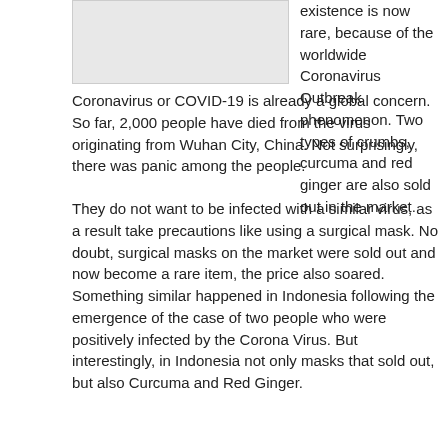[Figure (photo): Image placeholder (gray box) in upper left area of page]
existence is now rare, because of the worldwide Coronavirus Outbreak phenomenon. Two types of crumbs, curcuma and red ginger are also sold out in the market.
Coronavirus or COVID-19 is already a global concern. So far, 2,000 people have died from the virus originating from Wuhan City, China. Not surprisingly, there was panic among the people.
They do not want to be infected with a similar virus, as a result take precautions like using a surgical mask. No doubt, surgical masks on the market were sold out and now become a rare item, the price also soared.
Something similar happened in Indonesia following the emergence of the case of two people who were positively infected by the Corona Virus. But interestingly, in Indonesia not only masks that sold out, but also Curcuma and Red Ginger.
Both types of herbs are believed to increase immunity against Coronavirus, because it can help to increase body temperature. As a result, market demand for curcuma and red ginger suddenly increases.
With high demand, these two spices are now become rare commodities on the market.
“Curcuma does not exist, is empty. Red Ginger also doesn’t have to stay very small,” said one of the traders in Bojong Gede Market, Bogor, West Java.